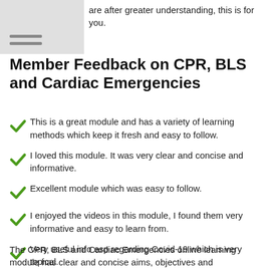are after greater understanding, this is for you.
Member Feedback on CPR, BLS and Cardiac Emergencies
This is a great module and has a variety of learning methods which keep it fresh and easy to follow.
I loved this module. It was very clear and concise and informative.
Excellent module which was easy to follow.
I enjoyed the videos in this module, I found them very informative and easy to learn from.
Very useful info esp regarding Covid-19 which is very topical.
The CPR, BLS and Cardiac Emergencies online learning module has clear and concise aims, objectives and